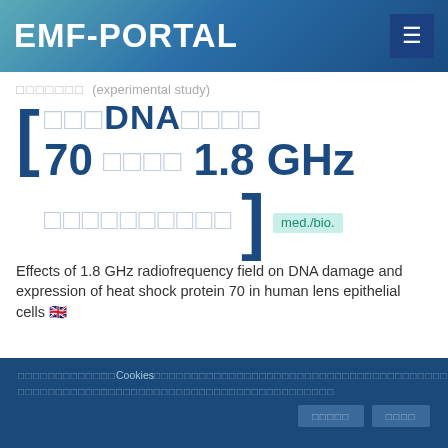EMF-PORTAL
□□□□□□□  (experimental study)
[ □□□DNA□□□□  70 □□□□  1.8 GHz  □□□□□□□□□□ ] med./bio.
Effects of 1.8 GHz radiofrequency field on DNA damage and expression of heat shock protein 70 in human lens epithelial cells 🇬🇧
□□□□□□□□□□□□□Cookies□□□□□□□□□□□□□□□□□□□□□□□□□□□□□□□□□□□□□□□□□□□□□□□□□□□□□□□□□□□□□□□□□□□□□□□□□□□□□□□□□□□□
□□□□□ □□□□